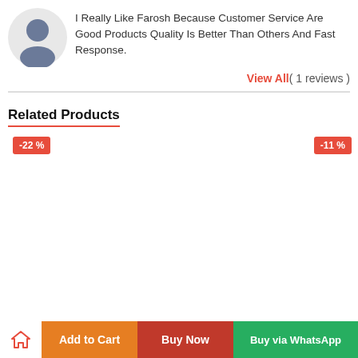I Really Like Farosh Because Customer Service Are Good Products Quality Is Better Than Others And Fast Response.
View All( 1 reviews )
Related Products
[Figure (other): Product card with -22% discount badge]
[Figure (other): Product card with -11% discount badge]
Add to Cart | Buy Now | Buy via WhatsApp